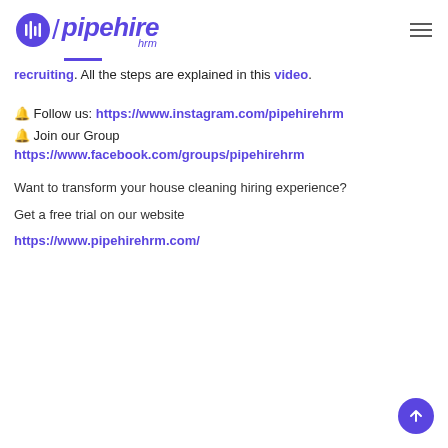[Figure (logo): Pipehire HRM logo with icon, slash, and italic text]
recruiting. All the steps are explained in this video.
🔔 Follow us: https://www.instagram.com/pipehirehrm
🔔 Join our Group
https://www.facebook.com/groups/pipehirehrm
Want to transform your house cleaning hiring experience?
Get a free trial on our website
https://www.pipehirehrm.com/